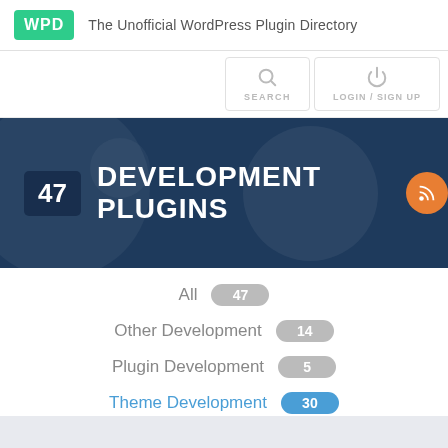[Figure (logo): WPD logo — green rounded badge with white text 'WPD' followed by tagline 'The Unofficial WordPress Plugin Directory']
[Figure (screenshot): Navigation icons: Search magnifier and Login/Sign Up power icon]
47 DEVELOPMENT PLUGINS
All 47
Other Development 14
Plugin Development 5
Theme Development 30